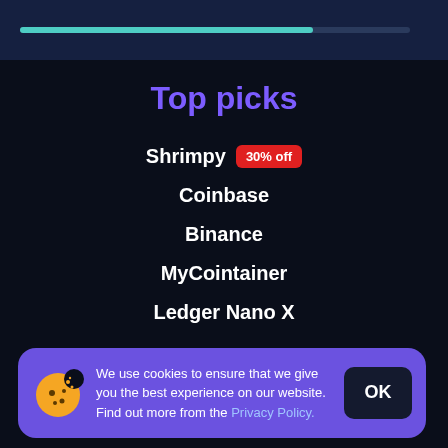[Figure (other): Top navigation bar with a progress bar showing approximately 75% completion in teal/green color on a dark navy background]
Top picks
Shrimpy 30% off
Coinbase
Binance
MyCointainer
Ledger Nano X
We use cookies to ensure that we give you the best experience on our website. Find out more from the Privacy Policy.